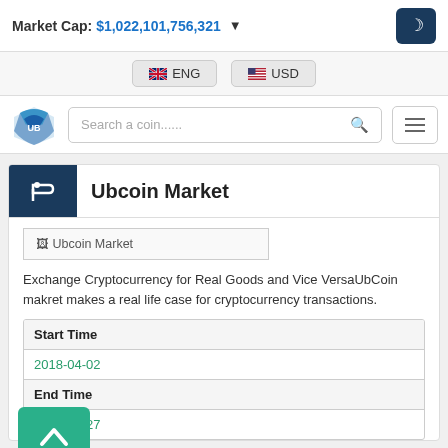Market Cap: $1,022,101,756,321
ENG   USD
[Figure (screenshot): Website navigation bar with logo, search field 'Search a coin......', and hamburger menu button]
Ubcoin Market
[Figure (other): Ubcoin Market logo image placeholder]
Exchange Cryptocurrency for Real Goods and Vice VersaUbCoin makret makes a real life case for cryptocurrency transactions.
| Start Time |
| --- |
| 2018-04-02 |
| End Time |
| 2018-08-27 |